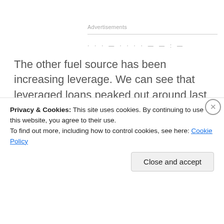Advertisements
The other fuel source has been increasing leverage. We can see that leveraged loans peaked out around last year’s solar maximum:
[Figure (continuous-plot): Line chart showing total net asset value of prime funds at month-end, with y-axis starting at $180B. Chart is partially obscured by a cookie consent banner.]
Privacy & Cookies: This site uses cookies. By continuing to use this website, you agree to their use.
To find out more, including how to control cookies, see here: Cookie Policy
Close and accept